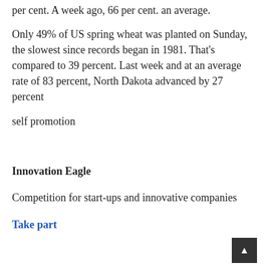per cent. A week ago, 66 per cent. an average.
Only 49% of US spring wheat was planted on Sunday, the slowest since records began in 1981. That's compared to 39 percent. Last week and at an average rate of 83 percent, North Dakota advanced by 27 percent
self promotion
Innovation Eagle
Competition for start-ups and innovative companies
Take part